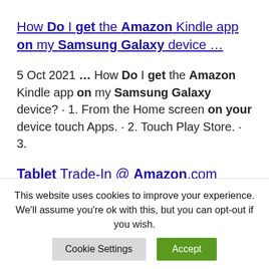How Do I get the Amazon Kindle app on my Samsung Galaxy device …
5 Oct 2021 … How Do I get the Amazon Kindle app on my Samsung Galaxy device? · 1. From the Home screen on your device touch Apps. · 2. Touch Play Store. · 3.
Tablet Trade-In @ Amazon.com
If you're unsure which Amazon Fire
This website uses cookies to improve your experience. We'll assume you're ok with this, but you can opt-out if you wish.